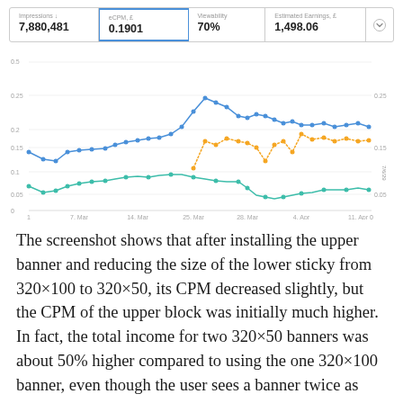| Impressions ↓ | eCPM, £ | Viewability | Estimated Earnings, £ |
| --- | --- | --- | --- |
| 7,880,481 | 0.1901 | 70% | 1,498.06 |
[Figure (line-chart): Three line series (blue, teal/green, yellow/orange) showing eCPM values over time from early March to mid April. Blue line is highest (~0.2 peak), teal is middle (~0.1), yellow appears mid-period.]
The screenshot shows that after installing the upper banner and reducing the size of the lower sticky from 320×100 to 320×50, its CPM decreased slightly, but the CPM of the upper block was initially much higher. In fact, the total income for two 320×50 banners was about 50% higher compared to using the one 320×100 banner, even though the user sees a banner twice as small. At the